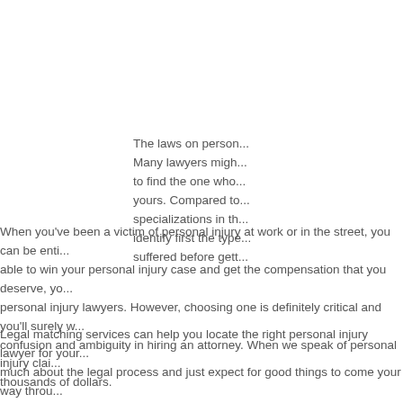The laws on person... Many lawyers might... to find the one who... yours. Compared to... specializations in th... identify first the type... suffered before gett...
When you've been a victim of personal injury at work or in the street, you can be enti... able to win your personal injury case and get the compensation that you deserve, yo... personal injury lawyers. However, choosing one is definitely critical and you'll surely w... confusion and ambiguity in hiring an attorney. When we speak of personal injury clai... thousands of dollars.
Legal matching services can help you locate the right personal injury lawyer for your... much about the legal process and just expect for good things to come your way throu... get the highest possible claims so you need a competent legal counsel for this. Take... rely on the facts of the lawsuit but the lawyer's capacity as well...